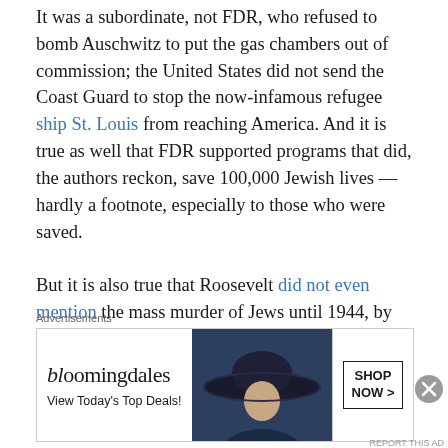It was a subordinate, not FDR, who refused to bomb Auschwitz to put the gas chambers out of commission; the United States did not send the Coast Guard to stop the now-infamous refugee ship St. Louis from reaching America. And it is true as well that FDR supported programs that did, the authors reckon, save 100,000 Jewish lives — hardly a footnote, especially to those who were saved.

But it is also true that Roosevelt did not even mention the mass murder of Jews until 1944, by which time most of Europe's Jews had been killed. He showed almost no leadership on this issue, refusing to confront nativist anti-Semitism and fear of foreigners. He did little to warn either
Advertisements
[Figure (other): Bloomingdale's advertisement banner with logo, tagline 'View Today's Top Deals!', image of woman in wide-brim hat, and 'SHOP NOW >' button]